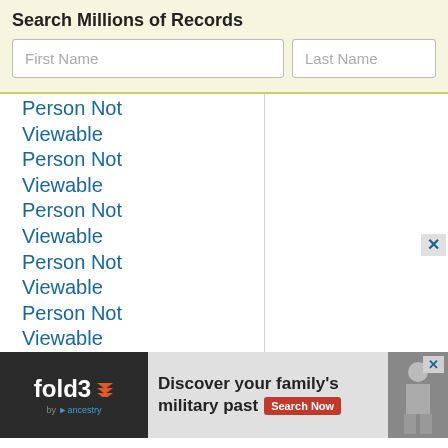Search Millions of Records
First Name
Last Name
Person Not
Viewable
Person Not
Viewable
Person Not
Viewable
Person Not
Viewable
Person Not
Viewable
Person Not
Viewable
Person Not
Viewabl
Person
Viewabl
[Figure (screenshot): fold3 by Ancestry advertisement banner: 'Discover your family's military past' with Search Now button and historical soldier photo]